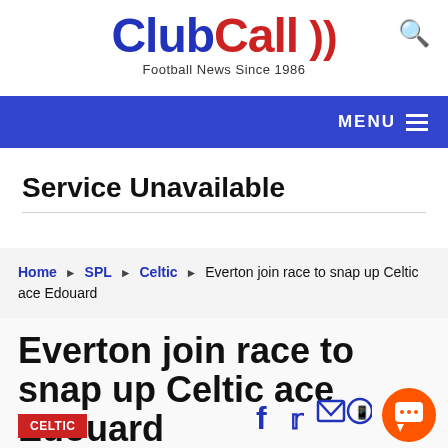ClubCall )) Football News Since 1986
MENU
Service Unavailable
Home ▶ SPL ▶ Celtic ▶ Everton join race to snap up Celtic ace Edouard
Everton join race to snap up Celtic ace Edouard
CELTIC